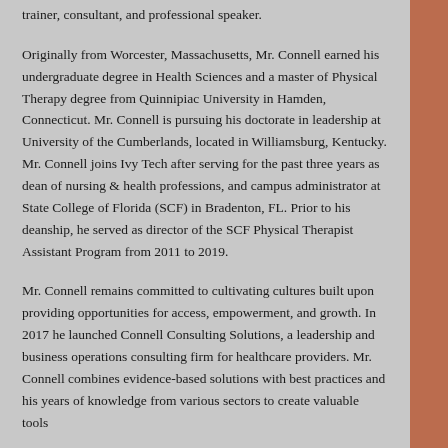trainer, consultant, and professional speaker.
Originally from Worcester, Massachusetts, Mr. Connell earned his undergraduate degree in Health Sciences and a master of Physical Therapy degree from Quinnipiac University in Hamden, Connecticut. Mr. Connell is pursuing his doctorate in leadership at University of the Cumberlands, located in Williamsburg, Kentucky. Mr. Connell joins Ivy Tech after serving for the past three years as dean of nursing & health professions, and campus administrator at State College of Florida (SCF) in Bradenton, FL. Prior to his deanship, he served as director of the SCF Physical Therapist Assistant Program from 2011 to 2019.
Mr. Connell remains committed to cultivating cultures built upon providing opportunities for access, empowerment, and growth. In 2017 he launched Connell Consulting Solutions, a leadership and business operations consulting firm for healthcare providers. Mr. Connell combines evidence-based solutions with best practices and his years of knowledge from various sectors to create valuable tools